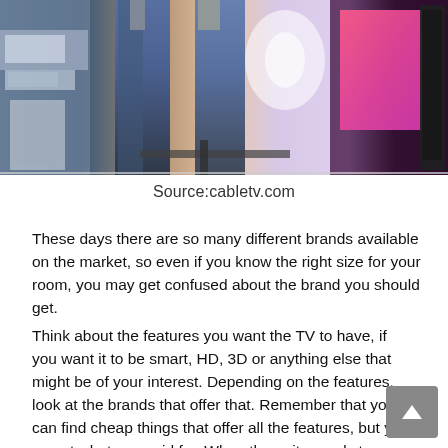[Figure (photo): People standing in an electronics store looking at TVs and other devices on display. The image shows customers browsing in a consumer electronics retail environment.]
Source:cabletv.com
These days there are so many different brands available on the market, so even if you know the right size for your room, you may get confused about the brand you should get.
Think about the features you want the TV to have, if you want it to be smart, HD, 3D or anything else that might be of your interest. Depending on the features, look at the brands that offer that. Remember that you can find cheap things that offer all the features, but you us get what you paid for. When the unit sounds too good to be true, it usually is.